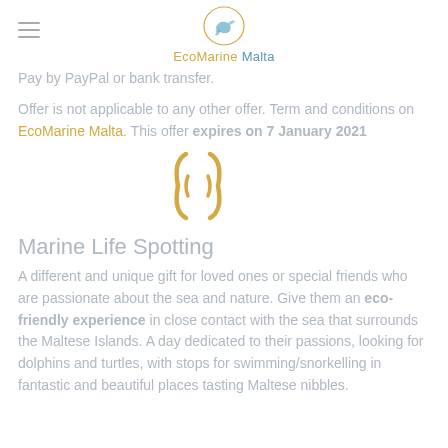EcoMarine Malta
Pay by PayPal or bank transfer.
Offer is not applicable to any other offer. Term and conditions on EcoMarine Malta. This offer expires on 7 January 2021
[Figure (other): Animated loading spinner icon in gold/yellow color]
Marine Life Spotting
A different and unique gift for loved ones or special friends who are passionate about the sea and nature. Give them an eco-friendly experience in close contact with the sea that surrounds the Maltese Islands. A day dedicated to their passions, looking for dolphins and turtles, with stops for swimming/snorkelling in fantastic and beautiful places tasting Maltese nibbles.